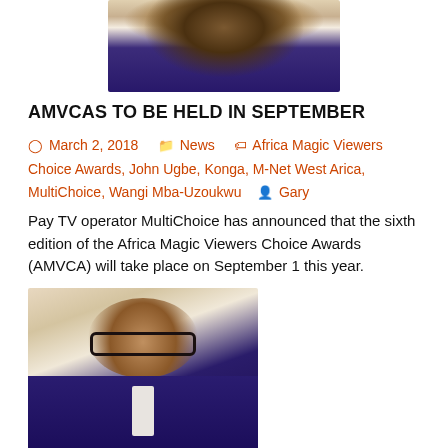[Figure (photo): Top portion of a photo of a man in a blue suit, cropped at the top of the page]
AMVCAS TO BE HELD IN SEPTEMBER
March 2, 2018   News   Africa Magic Viewers Choice Awards, John Ugbe, Konga, M-Net West Arica, MultiChoice, Wangi Mba-Uzoukwu   Gary
Pay TV operator MultiChoice has announced that the sixth edition of the Africa Magic Viewers Choice Awards (AMVCA) will take place on September 1 this year.
[Figure (photo): Photo of John Ugbe, a man wearing glasses and a blue suit, against a light background]
John Ugbe
Entries for the AMVCAs will begin on March 1 and end on April 30. Only films or TV series that were broadcast or publicly screened during the period October 1, 2016 to March 31, 2018 are eligible for entry.